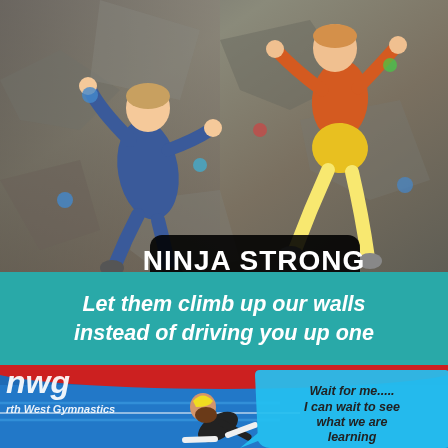[Figure (photo): Two children climbing an indoor rock climbing wall. One child in blue clothing on the left, one child in orange top and yellow shorts on the right.]
NINJA STRONG
Let them climb up our walls instead of driving you up one
[Figure (photo): North West Gymnastics gym photo. Child in yellow hat doing gymnastics on a blue mat. Red inflatable in background. NWG logo visible. Speech bubble reads: Wait for me..... I can wait to see what we are learning]